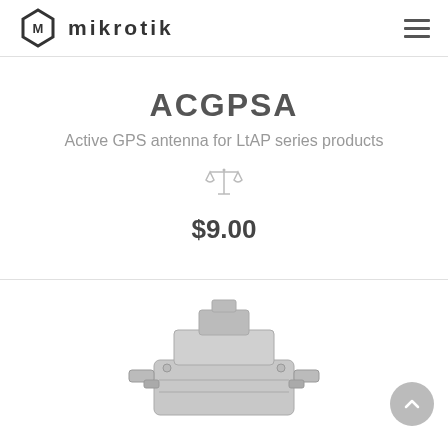MikroTik
ACGPSA
Active GPS antenna for LtAP series products
[Figure (illustration): Balance/compare scale icon in light gray]
$9.00
[Figure (photo): Photo of ACGPSA active GPS antenna hardware component, metallic silver color, bottom portion visible]